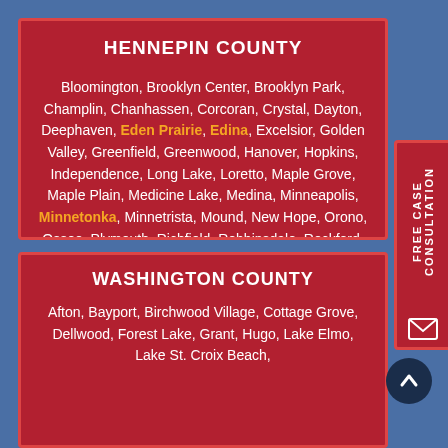HENNEPIN COUNTY
Bloomington, Brooklyn Center, Brooklyn Park, Champlin, Chanhassen, Corcoran, Crystal, Dayton, Deephaven, Eden Prairie, Edina, Excelsior, Golden Valley, Greenfield, Greenwood, Hanover, Hopkins, Independence, Long Lake, Loretto, Maple Grove, Maple Plain, Medicine Lake, Medina, Minneapolis, Minnetonka, Minnetrista, Mound, New Hope, Orono, Osseo, Plymouth, Richfield, Robbinsdale, Rockford, Rogers, Shorewood, Spring Park, St. Anthony Village, St. Bonifacius, St. Louis Park, Wayzata, Woodland and Hassan Township.
WASHINGTON COUNTY
Afton, Bayport, Birchwood Village, Cottage Grove, Dellwood, Forest Lake, Grant, Hugo, Lake Elmo, Lake St. Croix Beach,